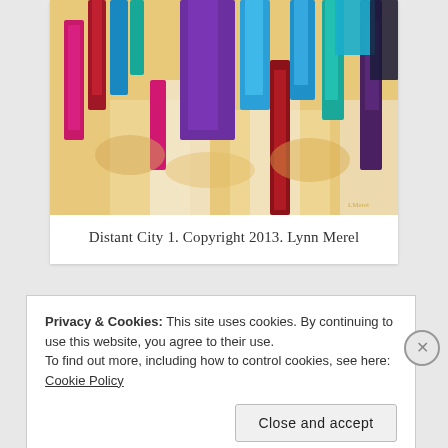[Figure (illustration): Abstract painting titled 'Distant City 1' showing vertical streaks of purple, blue, teal, red, magenta, and orange colors on a warm background, resembling an abstract cityscape.]
Distant City 1. Copyright 2013. Lynn Merel
Privacy & Cookies: This site uses cookies. By continuing to use this website, you agree to their use.
To find out more, including how to control cookies, see here: Cookie Policy
Close and accept